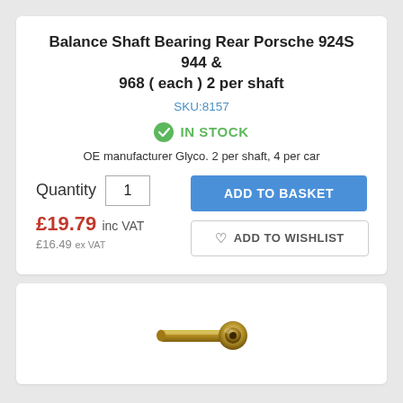Balance Shaft Bearing Rear Porsche 924S 944 & 968 ( each ) 2 per shaft
SKU:8157
IN STOCK
OE manufacturer Glyco. 2 per shaft, 4 per car
Quantity 1
£19.79 inc VAT
£16.49 ex VAT
ADD TO BASKET
ADD TO WISHLIST
[Figure (photo): Photo of a balance shaft bearing — a small gold/bronze cylindrical bearing component]